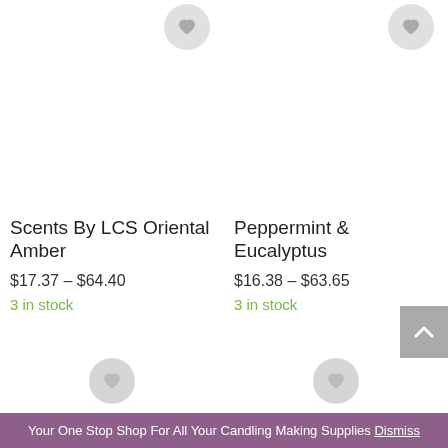[Figure (other): Wishlist heart button circle top-left product]
[Figure (other): Wishlist heart button circle top-right product]
Scents By LCS Oriental Amber
$17.37 – $64.40
3 in stock
Peppermint & Eucalyptus
$16.38 – $63.65
3 in stock
[Figure (other): Wishlist heart button circle bottom-left product]
[Figure (other): Wishlist heart button circle bottom-right product]
Your One Stop Shop For All Your Candling Making Supplies Dismiss